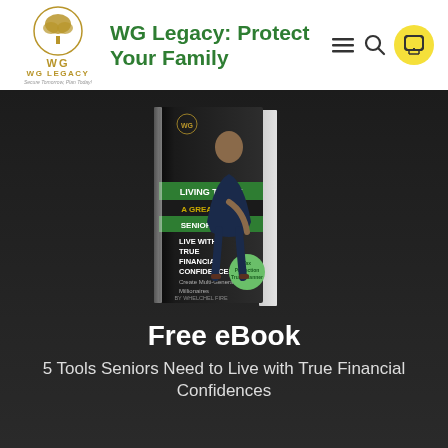WG Legacy: Protect Your Family
[Figure (logo): WG Legacy logo with tree emblem and tagline 'Secure Tomorrow, Plan Today']
[Figure (photo): Book cover: 'Living Trust A Great Tool Seniors Need - Live With True Financial Confidences, Create Multi-Generation Millionaires' by WG Legacy, showing a woman in professional attire seated on the cover]
Free eBook
5 Tools Seniors Need to Live with True Financial Confidences